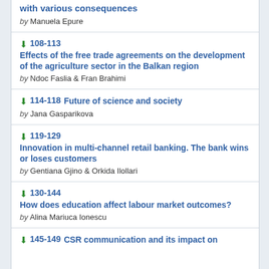with various consequences by Manuela Epure
108-113 Effects of the free trade agreements on the development of the agriculture sector in the Balkan region by Ndoc Faslia & Fran Brahimi
114-118 Future of science and society by Jana Gasparikova
119-129 Innovation in multi-channel retail banking. The bank wins or loses customers by Gentiana Gjino & Orkida Ilollari
130-144 How does education affect labour market outcomes? by Alina Mariuca Ionescu
145-149 CSR communication and its impact on